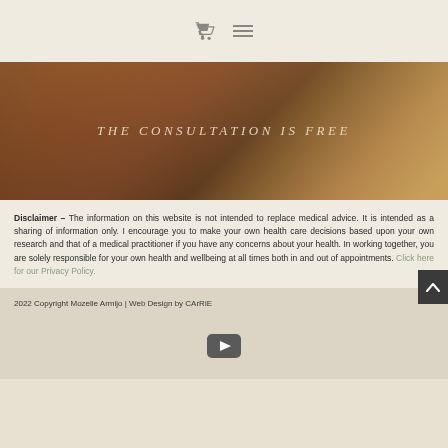Navigation icons: cart and menu
[Figure (photo): Hero image of a person with warm golden-hour lighting, person appears to be on a phone call or touching their face. Overlay text reads: THE CONSULTATION IS FREE]
Disclaimer – The information on this website is not intended to replace medical advice. It is intended as a sharing of information only. I encourage you to make your own health care decisions based upon your own research and that of a medical practitioner if you have any concerns about your health. In working together, you are solely responsible for your own health and wellbeing at all times both in and out of appointments. Click here for our Privacy Policy.
2022 Copyright Mozelle Armijo | Web Design by CArRiE
[Figure (other): YouTube play button icon in a rounded rectangle]